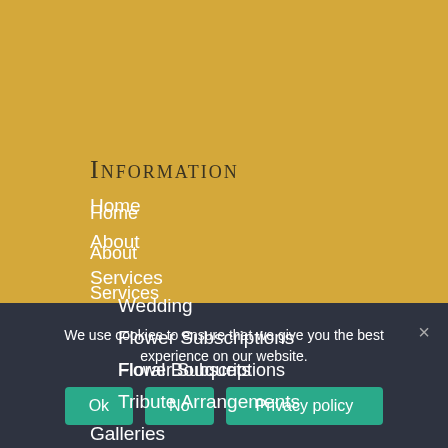Information
Home
About
Services
Wedding
Flower Subscriptions
Floral Bouquets
Tribute Arrangements
Galleries
Dried arrangements
Fresh Cut
We use cookies to ensure that we give you the best experience on our website.
Ok
No
Privacy policy